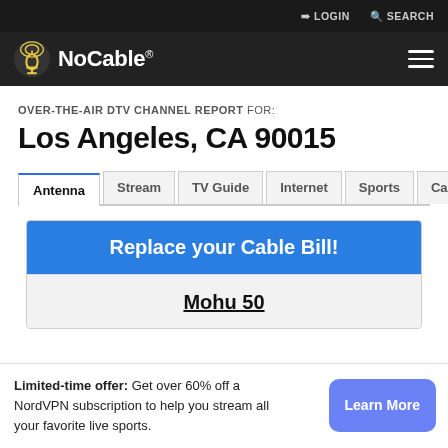LOGIN  SEARCH
NoCable®
OVER-THE-AIR DTV CHANNEL REPORT FOR:
Los Angeles, CA 90015
Antenna | Stream | TV Guide | Internet | Sports | Cable
Replace your Cable Bill!
Mohu 50
Limited-time offer: Get over 60% off a NordVPN subscription to help you stream all your favorite live sports.